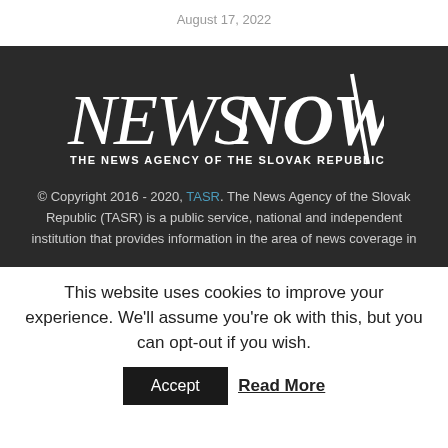August 17, 2022
[Figure (logo): NewsNow – The News Agency of the Slovak Republic logo on dark background]
© Copyright 2016 - 2020, TASR. The News Agency of the Slovak Republic (TASR) is a public service, national and independent institution that provides information in the area of news coverage in
This website uses cookies to improve your experience. We'll assume you're ok with this, but you can opt-out if you wish.
Accept
Read More